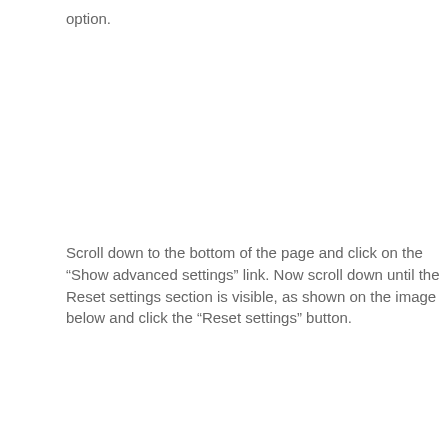option.
Scroll down to the bottom of the page and click on the “Show advanced settings” link. Now scroll down until the Reset settings section is visible, as shown on the image below and click the “Reset settings” button.